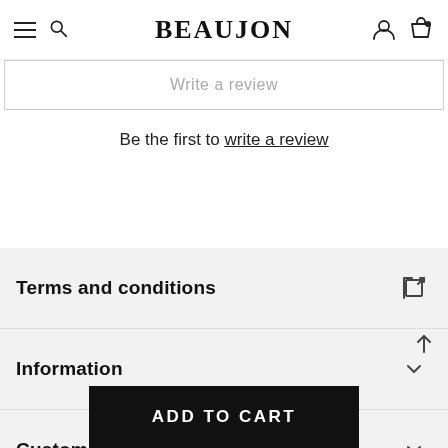BEAUJON
Write a review
Be the first to write a review
Terms and conditions
Information
Customer Service
ADD TO CART